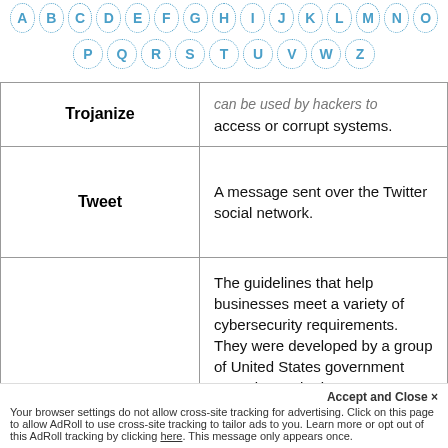[Figure (other): Alphabet navigation with letters A-Z arranged in two rows, each letter in a dotted circle border in blue]
| Term | Definition |
| --- | --- |
| Trojanize | ...can be used by hackers to access or corrupt systems. |
| Tweet | A message sent over the Twitter social network. |
|  | The guidelines that help businesses meet a variety of cybersecurity requirements. They were developed by a group of United States government agencies and private companies, as we... |
Accept and Close X
Your browser settings do not allow cross-site tracking for advertising. Click on this page to allow AdRoll to use cross-site tracking to tailor ads to you. Learn more or opt out of this AdRoll tracking by clicking here. This message only appears once.